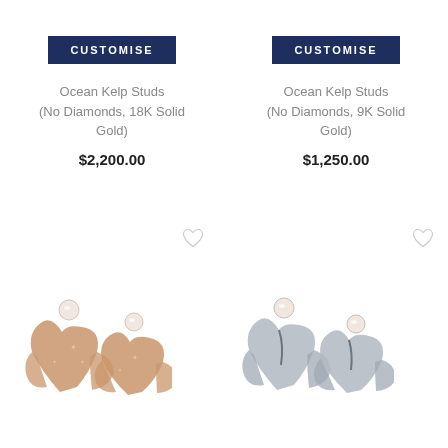CUSTOMISE
Ocean Kelp Studs (No Diamonds, 18K Solid Gold)
$2,200.00
[Figure (photo): Two rose gold whale tail stud earrings with pearl accents]
CUSTOMISE
Ocean Kelp Studs (No Diamonds, 9K Solid Gold)
$1,250.00
[Figure (photo): Two silver/white gold whale tail stud earrings with pearl accents]